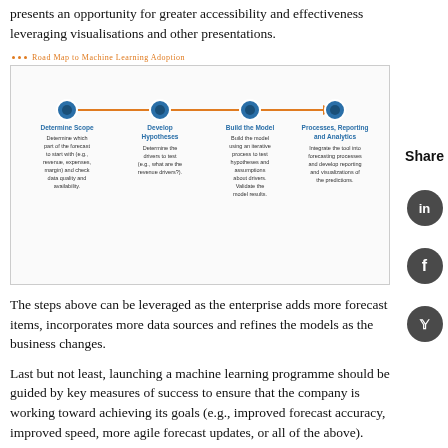presents an opportunity for greater accessibility and effectiveness leveraging visualisations and other presentations.
Road Map to Machine Learning Adoption
[Figure (flowchart): A four-step horizontal roadmap with orange arrows connecting blue circle nodes. Steps: 1) Determine Scope – Determine which part of the forecast to start with (e.g., revenue, expenses, margin) and check data quality and availability. 2) Develop Hypotheses – Determine the drivers to test (e.g., what are the revenue drivers?). 3) Build the Model – Build the model using an iterative process to test hypotheses and assumptions about drivers. Validate the model results. 4) Processes, Reporting and Analytics – Integrate the tool into forecasting processes and develop reporting and visualizations of the predictions.]
The steps above can be leveraged as the enterprise adds more forecast items, incorporates more data sources and refines the models as the business changes.
Last but not least, launching a machine learning programme should be guided by key measures of success to ensure that the company is working toward achieving its goals (e.g., improved forecast accuracy, improved speed, more agile forecast updates, or all of the above).